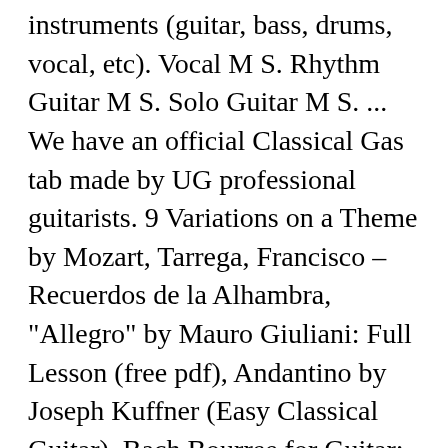instruments (guitar, bass, drums, vocal, etc). Vocal M S. Rhythm Guitar M S. Solo Guitar M S. ... We have an official Classical Gas tab made by UG professional guitarists. 9 Variations on a Theme by Mozart, Tarrega, Francisco – Recuerdos de la Alhambra, "Allegro" by Mauro Giuliani: Full Lesson (free pdf), Andantino by Joseph Kuffner (Easy Classical Guitar), Bach Bourree for Guitar: Full Video Lesson, Full Lesson on Carulli Waltz in C (op.121 no.1) for classical guitar, Full Lesson on Dionisio Aguado Guitar Piece: Moderato, Full Lesson on Fernando Sor Guitar Moderato (op.35, no.2), Full Lesson on the Carulli Andante, op. 39 Air from the Magic Flute, Dorn, C.J. 191,663 views, added to favorites 778 times. Ver 1. The sheet